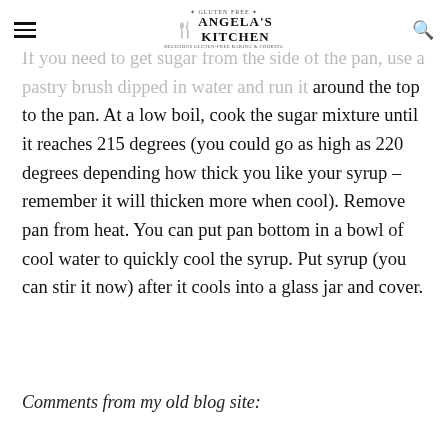Angela's Kitchen
If you need to get sugar from the side of the pan, use a pastry brush dipped in water and run it around the top to the pan.  At a low boil, cook the sugar mixture until it reaches 215 degrees (you could go as high as 220 degrees depending how thick you like your syrup – remember it will thicken more when cool).  Remove pan from heat.  You can put pan bottom in a bowl of cool water to quickly cool the syrup.  Put syrup (you can stir it now) after it cools into a glass jar and cover.
Comments from my old blog site: